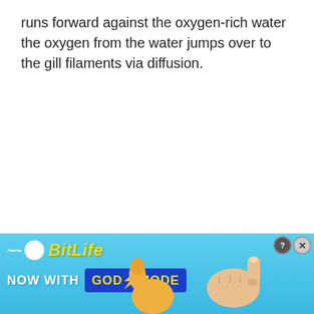runs forward against the oxygen-rich water the oxygen from the water jumps over to the gill filaments via diffusion.
[Figure (screenshot): Advertisement banner for BitLife mobile game showing 'BitLife NOW WITH GOD MODE' with lightning bolt graphic, cartoon hand pointing fingers, and close/help buttons. Sky-blue gradient background.]